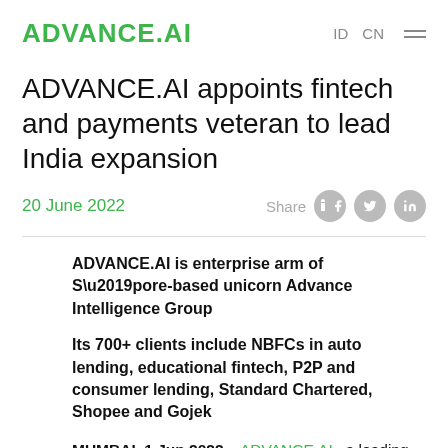ADVANCE.AI   ID   CN
ADVANCE.AI appoints fintech and payments veteran to lead India expansion
20 June 2022   Share
ADVANCE.AI is enterprise arm of S’pore-based unicorn Advance Intelligence Group
Its 700+ clients include NBFCs in auto lending, educational fintech, P2P and consumer lending, Standard Chartered, Shopee and Gojek
MUMBAI, 1 Jun 2022 – ADVANCE.AI , a leading